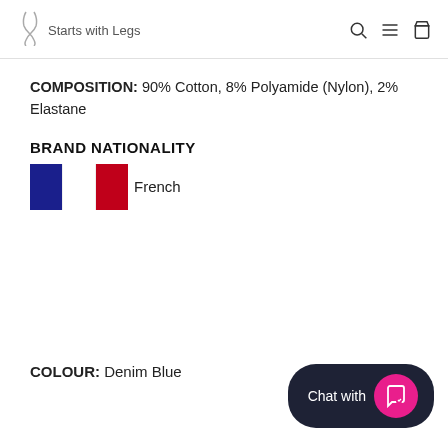Starts with Legs
COMPOSITION: 90% Cotton, 8% Polyamide (Nylon), 2% Elastane
BRAND NATIONALITY
[Figure (illustration): French flag with blue, white, and red vertical stripes followed by the word French]
COLOUR: Denim Blue
[Figure (other): Chat with us widget button with dark background and pink circular icon]